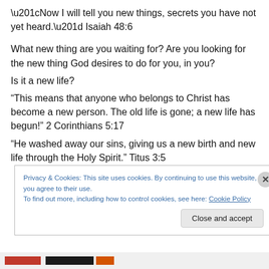“Now I will tell you new things, secrets you have not yet heard.” Isaiah 48:6
What new thing are you waiting for? Are you looking for the new thing God desires to do for you, in you?
Is it a new life?
“This means that anyone who belongs to Christ has become a new person. The old life is gone; a new life has begun!” 2 Corinthians 5:17
“He washed away our sins, giving us a new birth and new life through the Holy Spirit.” Titus 3:5
Privacy & Cookies: This site uses cookies. By continuing to use this website, you agree to their use.
To find out more, including how to control cookies, see here: Cookie Policy